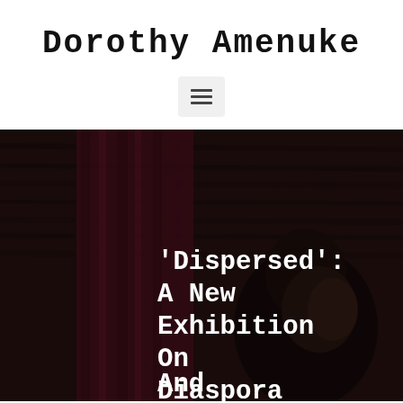Dorothy Amenuke
[Figure (photo): Dark atmospheric photo showing a person and reddish-purple curtain or drape in background, with overlaid white bold monospace text reading ''Dispersed': A New Exhibition On Diaspora And']